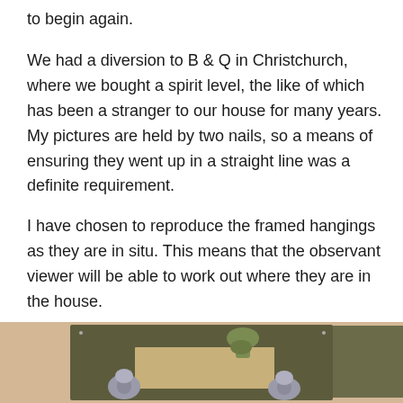to begin again.
We had a diversion to B & Q in Christchurch, where we bought a spirit level, the like of which has been a stranger to our house for many years. My pictures are held by two nails, so a means of ensuring they went up in a straight line was a definite requirement.
I have chosen to reproduce the framed hangings as they are in situ. This means that the observant viewer will be able to work out where they are in the house.
[Figure (photo): A framed artwork or print hanging on a warm beige wall, showing what appears to be a decorative piece with metallic ornamental objects at the bottom and a darker background panel behind a smaller inset image featuring a hand and green foliage.]